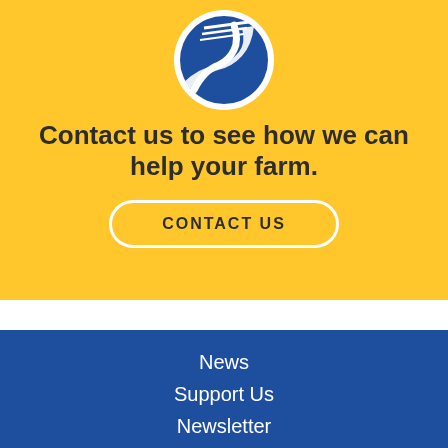[Figure (logo): Farm bureau or agricultural organization logo: blue circular emblem with white road/path and fields design on a yellow background]
Contact us to see how we can help your farm.
CONTACT US
News
Support Us
Newsletter